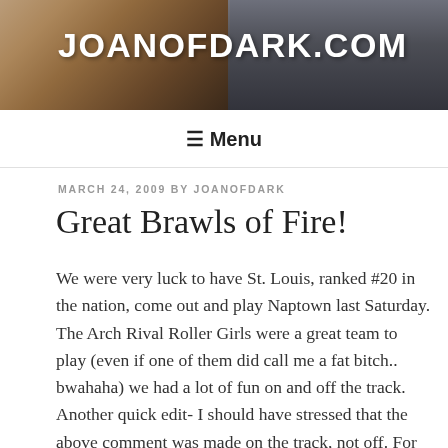JOANOFDARK.COM
☰ Menu
MARCH 24, 2009 BY JOANOFDARK
Great Brawls of Fire!
We were very luck to have St. Louis, ranked #20 in the nation, come out and play Naptown last Saturday. The Arch Rival Roller Girls were a great team to play (even if one of them did call me a fat bitch.. bwahaha) we had a lot of fun on and off the track. Another quick edit- I should have stressed that the above comment was made on the track, not off. For those of you that don't play derby, we girls talk a lot of smack out there. It's not meant to be harmful or hurtful, it's just verbal crap that comes out of